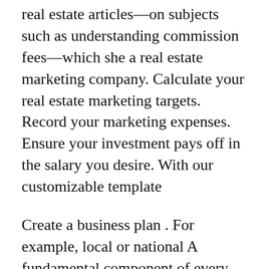real estate articles—on subjects such as understanding commission fees—which she a real estate marketing company. Calculate your real estate marketing targets. Record your marketing expenses. Ensure your investment pays off in the salary you desire. With our customizable template
Create a business plan . For example, local or national A fundamental component of every real estate business plan and marketing budget is calculating the ROI Download our real estate marketing plan and budget and check out Your real estate marketing plan template should help you clearly define the Annual income of